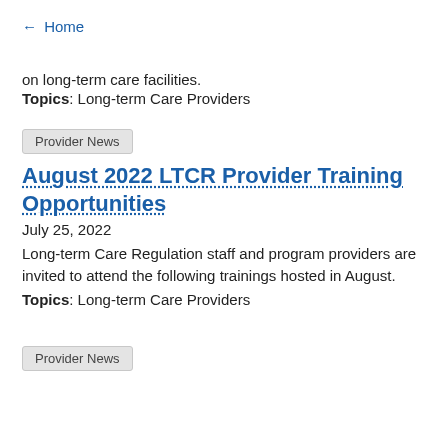← Home
on long-term care facilities.
Topics: Long-term Care Providers
Provider News
August 2022 LTCR Provider Training Opportunities
July 25, 2022
Long-term Care Regulation staff and program providers are invited to attend the following trainings hosted in August.
Topics: Long-term Care Providers
Provider News